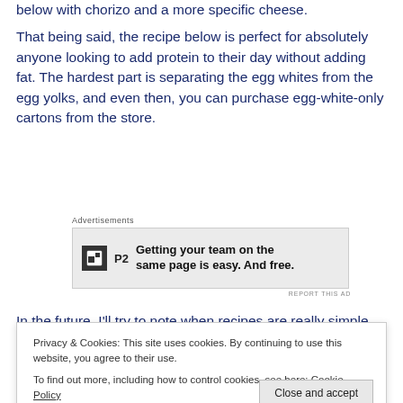below with chorizo and a more specific cheese.
That being said, the recipe below is perfect for absolutely anyone looking to add protein to their day without adding fat. The hardest part is separating the egg whites from the egg yolks, and even then, you can purchase egg-white-only cartons from the store.
[Figure (screenshot): Advertisement banner for P2 with text: Getting your team on the same page is easy. And free.]
In the future, I'll try to note when recipes are really simple
Privacy & Cookies: This site uses cookies. By continuing to use this website, you agree to their use. To find out more, including how to control cookies, see here: Cookie Policy
dieters looking for a healthy snack that will improve their